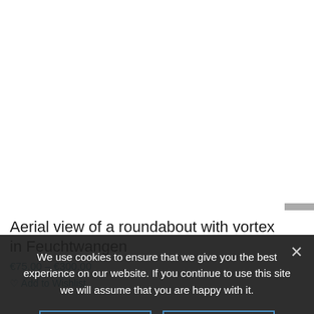[Figure (photo): White/blank area representing a product image area (aerial view of roundabout, not visible in this crop)]
Aerial view of a roundabout with vortex in Feuchtwangen
€75.00 – €300.00
♡ Add to Wishlist
We use cookies to ensure that we give you the best experience on our website. If you continue to use this site we will assume that you are happy with it.
Got it
Read more